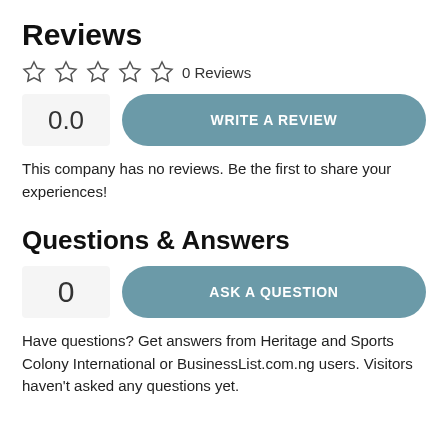Reviews
☆ ☆ ☆ ☆ ☆  0 Reviews
0.0   WRITE A REVIEW
This company has no reviews. Be the first to share your experiences!
Questions & Answers
0   ASK A QUESTION
Have questions? Get answers from Heritage and Sports Colony International or BusinessList.com.ng users. Visitors haven't asked any questions yet.